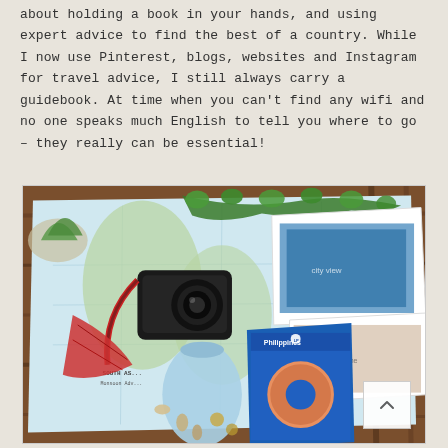about holding a book in your hands, and using expert advice to find the best of a country. While I now use Pinterest, blogs, websites and Instagram for travel advice, I still always carry a guidebook. At time when you can't find any wifi and no one speaks much English to tell you where to go – they really can be essential!
[Figure (photo): Flat lay photo on wooden table showing a world map, a DSLR camera, a blue thermos/bottle with 'South Asia' text, a Lonely Planet Philippines guidebook, ivy/green vines, travel postcards/photos, and small shells/coins on the map.]